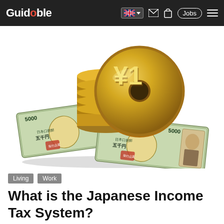Guidable — navigation bar with logo, language selector, mail, bag, Jobs, menu
[Figure (illustration): Illustration of stacked gold Japanese yen coins with a large ¥1 coin in front, and two 5000 yen banknotes fanned out beneath the coins]
Living  Work
What is the Japanese Income Tax System?